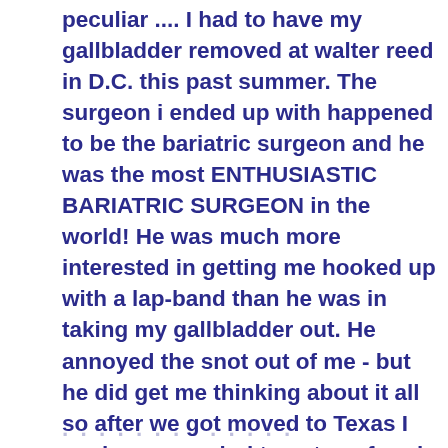peculiar .... I had to have my gallbladder removed at walter reed in D.C. this past summer. The surgeon i ended up with happened to be the bariatric surgeon and he was the most ENTHUSIASTIC BARIATRIC SURGEON in the world! He was much more interested in getting me hooked up with a lap-band than he was in taking my gallbladder out. He annoyed the snot out of me - but he did get me thinking about it all so after we got moved to Texas I made up my mind to get a referral from my primary care doc and see what all the excitement was.
I thought it wouldn't do any harm to go to a seminar ... then I thought I would go ahead with the medical